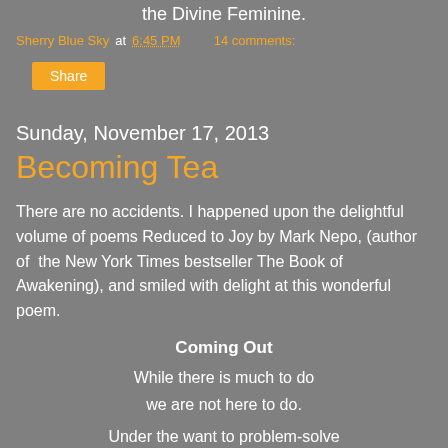the Divine Feminine.
Sherry Blue Sky at 6:45 PM   14 comments:
Share
Sunday, November 17, 2013
Becoming Tea
There are no accidents. I happened upon the delightful volume of poems Reduced to Joy by Mark Nepo, (author of the New York Times bestseller The Book of Awakening), and smiled with delight at this wonderful poem.
Coming Out
While there is much to do
we are not here to do.
Under the want to problem-solve